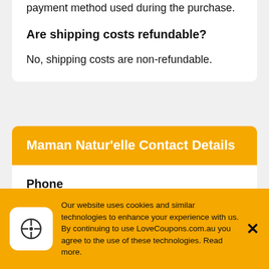payment method used during the purchase.
Are shipping costs refundable?
No, shipping costs are non-refundable.
Maman Natur'elle Contact Details
Phone
0467671615
E-mail
info@maman-naturelle.com
Our website uses cookies and similar technologies to enhance your experience with us. By continuing to use LoveCoupons.com.au you agree to the use of these technologies. Read more.